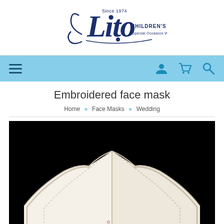[Figure (logo): Lito Children's Wear logo — cursive 'Lito' script in dark navy blue with 'Since 1974' above, 'CHILDREN'S WEAR' to the right, and 'Special Occasion Wear' below in smaller text]
[Figure (other): Navigation bar with hamburger menu icon on the left and user, cart, and search icons on the right, on a light blue background]
Embroidered face mask
Home • Face Masks • Wedding
[Figure (photo): Product photo of a white/cream embroidered face mask against a black background, showing the top/nose portion of the mask with a central seam and stitched edges]